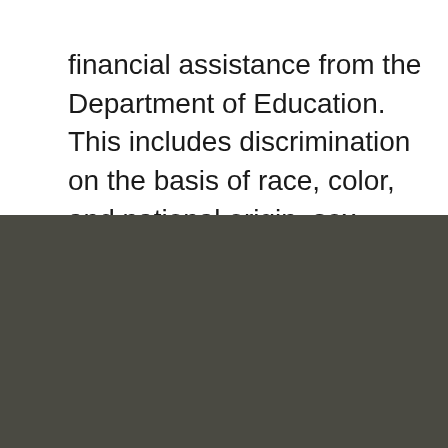financial assistance from the Department of Education. This includes discrimination on the basis of race, color, and national origin, sex, religion.
[Figure (other): Dark grey/olive rectangular background block occupying the bottom portion of the page]